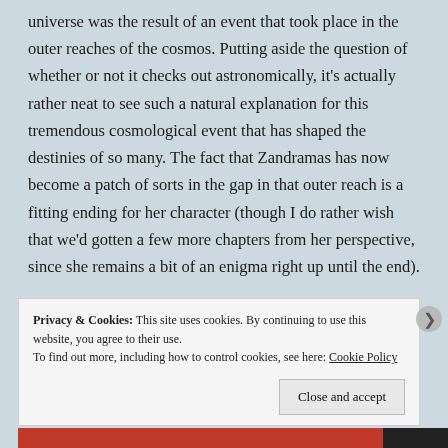universe was the result of an event that took place in the outer reaches of the cosmos. Putting aside the question of whether or not it checks out astronomically, it's actually rather neat to see such a natural explanation for this tremendous cosmological event that has shaped the destinies of so many. The fact that Zandramas has now become a patch of sorts in the gap in that outer reach is a fitting ending for her character (though I do rather wish that we'd gotten a few more chapters from her perspective, since she remains a bit of an enigma right up until the end).
Privacy & Cookies: This site uses cookies. By continuing to use this website, you agree to their use.
To find out more, including how to control cookies, see here: Cookie Policy
Close and accept